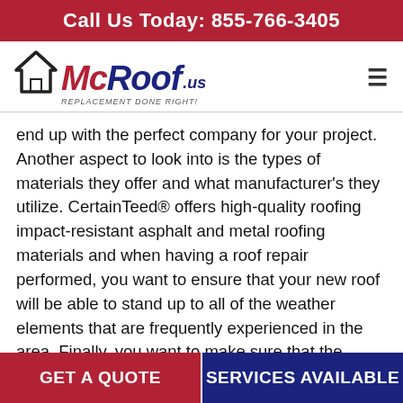Call Us Today: 855-766-3405
[Figure (logo): McRoof.us logo with house/roof icon and tagline 'Replacement Done Right!']
end up with the perfect company for your project. Another aspect to look into is the types of materials they offer and what manufacturer's they utilize. CertainTeed® offers high-quality roofing impact-resistant asphalt and metal roofing materials and when having a roof repair performed, you want to ensure that your new roof will be able to stand up to all of the weather elements that are frequently experienced in the area. Finally, you want to make sure that the company you select will be able to handle your insurance claim on your behalf. This is a tiring process that can be overwhelming when you're
GET A QUOTE
SERVICES AVAILABLE